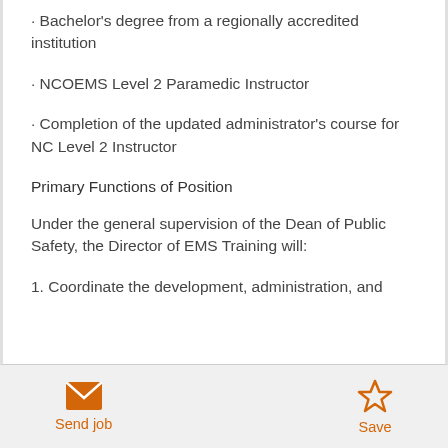· Bachelor's degree from a regionally accredited institution
· NCOEMS Level 2 Paramedic Instructor
· Completion of the updated administrator's course for NC Level 2 Instructor
Primary Functions of Position
Under the general supervision of the Dean of Public Safety, the Director of EMS Training will:
1. Coordinate the development, administration, and
Send job  Save